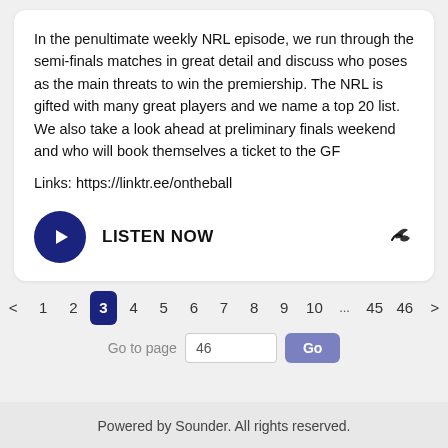In the penultimate weekly NRL episode, we run through the semi-finals matches in great detail and discuss who poses as the main threats to win the premiership. The NRL is gifted with many great players and we name a top 20 list. We also take a look ahead at preliminary finals weekend and who will book themselves a ticket to the GF

Links: https://linktr.ee/ontheball
LISTEN NOW
< 1 2 3 4 5 6 7 8 9 10 ... 45 46 >
Go to page 46 Go
Powered by Sounder. All rights reserved.